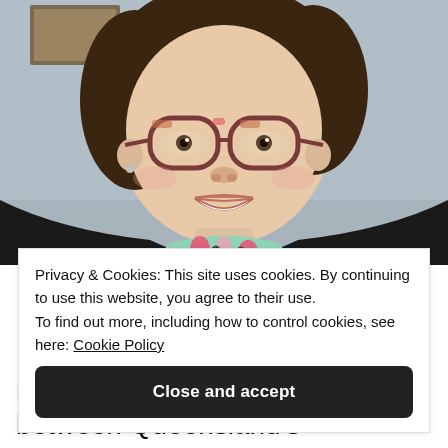[Figure (photo): Selfie photo of a smiling woman wearing cat-eye tortoiseshell glasses, a dark navy jacket, and a green floral/tropical print top. Background is light grey-blue.]
Privacy & Cookies: This site uses cookies. By continuing to use this website, you agree to their use.
To find out more, including how to control cookies, see here: Cookie Policy
Close and accept
real romance! Living directly between Queensland's